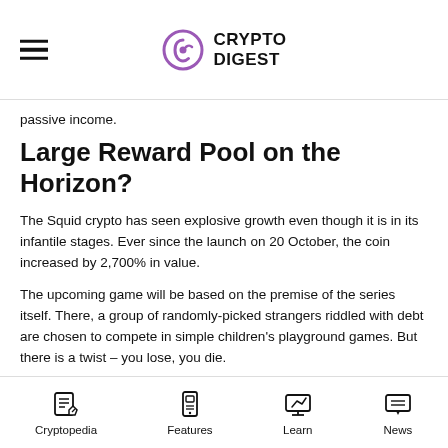CRYPTO DIGEST
passive income.
Large Reward Pool on the Horizon?
The Squid crypto has seen explosive growth even though it is in its infantile stages. Ever since the launch on 20 October, the coin increased by 2,700% in value.
The upcoming game will be based on the premise of the series itself. There, a group of randomly-picked strangers riddled with debt are chosen to compete in simple children's playground games. But there is a twist – you lose, you die.
The show has earned the title of Netflix's most popular series to date, and there is no reason to believe that gamers won't be
Cryptopedia   Features   Learn   News